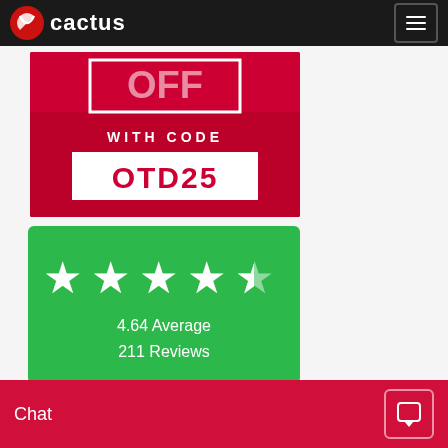cactus
[Figure (photo): Promotional banner with red background showing 'WITH CODE OTD25' discount offer]
[Figure (infographic): Green rating card showing 4.64 Average with 5 stars (4 full, 1 half) and 211 Reviews]
[Figure (logo): Reviews.io logo strip with TOP label and star badge]
Chat